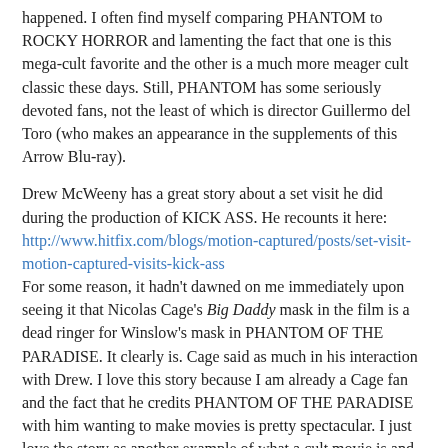happened. I often find myself comparing PHANTOM to ROCKY HORROR and lamenting the fact that one is this mega-cult favorite and the other is a much more meager cult classic these days. Still, PHANTOM has some seriously devoted fans, not the least of which is director Guillermo del Toro (who makes an appearance in the supplements of this Arrow Blu-ray).
Drew McWeeny has a great story about a set visit he did during the production of KICK ASS. He recounts it here: http://www.hitfix.com/blogs/motion-captured/posts/set-visit-motion-captured-visits-kick-ass
For some reason, it hadn't dawned on me immediately upon seeing it that Nicolas Cage's Big Daddy mask in the film is a dead ringer for Winslow's mask in PHANTOM OF THE PARADISE. It clearly is. Cage said as much in his interaction with Drew. I love this story because I am already a Cage fan and the fact that he credits PHANTOM OF THE PARADISE with him wanting to make movies is pretty spectacular. I just love the story as another example of what a cult movie is and how strong the power of PHANTOM is over those that have discovered it for themselves. That coupled with the idea that the Phantom himself might have been an influence on one of the most recognizeable icons of our